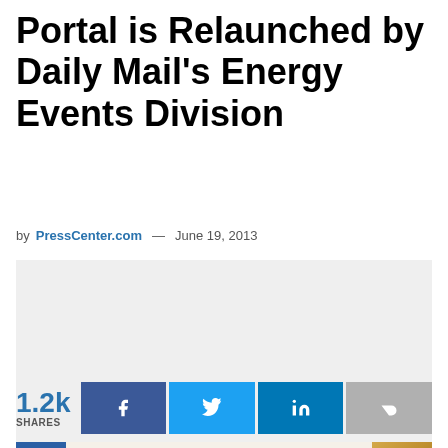Portal is Relaunched by Daily Mail's Energy Events Division
by PressCenter.com — June 19, 2013
[Figure (photo): Grey placeholder image for article]
1.2k SHARES
[Figure (other): Social share buttons: Facebook, Twitter, LinkedIn, Share]
LOCAL  RETURNS ADDRESS FOR ONLINE SELLERS